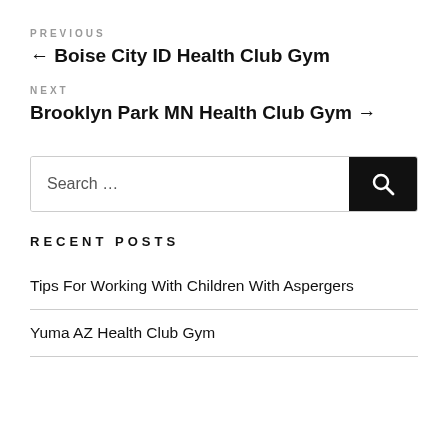PREVIOUS
← Boise City ID Health Club Gym
NEXT
Brooklyn Park MN Health Club Gym →
Search …
RECENT POSTS
Tips For Working With Children With Aspergers
Yuma AZ Health Club Gym